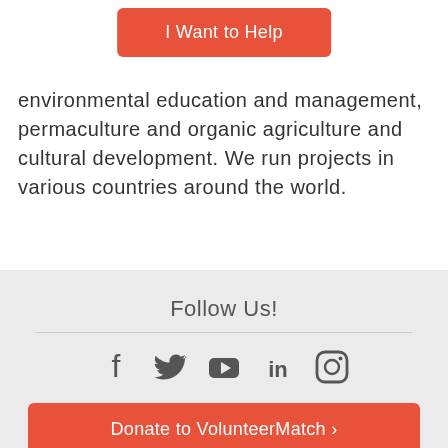[Figure (other): Orange button labeled 'I Want to Help']
environmental education and management, permaculture and organic agriculture and cultural development. We run projects in various countries around the world.
Follow Us!
[Figure (other): Social media icons: Facebook, Twitter, YouTube, LinkedIn, Instagram]
[Figure (other): Orange button labeled 'Donate to VolunteerMatch >']